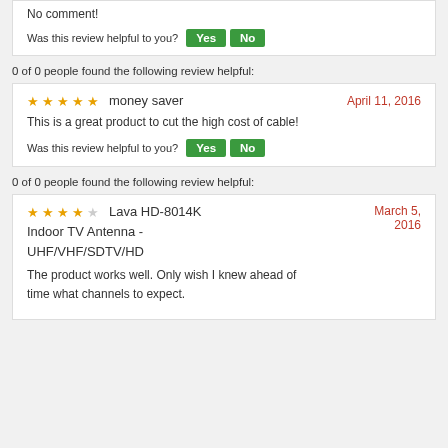No comment!
Was this review helpful to you?  Yes  No
0 of 0 people found the following review helpful:
★★★★★ money saver   April 11, 2016
This is a great product to cut the high cost of cable!
Was this review helpful to you?  Yes  No
0 of 0 people found the following review helpful:
★★★★☆ Lava HD-8014K Indoor TV Antenna - UHF/VHF/SDTV/HD   March 5, 2016
The product works well. Only wish I knew ahead of time what channels to expect.